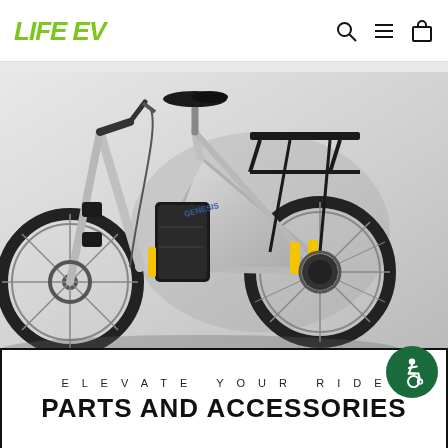LIFE EV
[Figure (photo): Silver electric bicycle (Genesis EV) photographed against a light gray background, showing the frame, battery pack, rear rack, and yellow accents. Side profile view.]
ELEVATE YOUR RIDE
PARTS AND ACCESSORIES